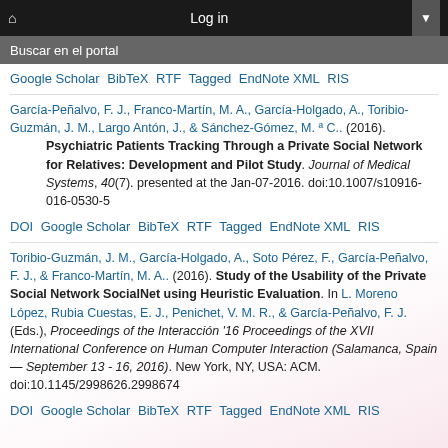Buscar en el portal | Log in
Google Scholar  BibTeX  RTF  Tagged  EndNote XML  RIS
García-Peñalvo, F. J., Franco-Martín, M. A., García-Holgado, A., Toribio-Guzmán, J. M., Largo Antón, J., & Sánchez-Gómez, M. ª C.. (2016). Psychiatric Patients Tracking Through a Private Social Network for Relatives: Development and Pilot Study. Journal of Medical Systems, 40(7). presented at the Jan-07-2016. doi:10.1007/s10916-016-0530-5
DOI  Google Scholar  BibTeX  RTF  Tagged  EndNote XML  RIS
Toribio-Guzmán, J. M., García-Holgado, A., Soto Pérez, F., García-Peñalvo, F. J., & Franco-Martín, M. A.. (2016). Study of the Usability of the Private Social Network SocialNet using Heuristic Evaluation. In L. Moreno López, Rubia Cuestas, E. J., Penichet, V. M. R., & García-Peñalvo, F. J. (Eds.), Proceedings of the Interacción '16 Proceedings of the XVII International Conference on Human Computer Interaction (Salamanca, Spain — September 13 - 16, 2016). New York, NY, USA: ACM. doi:10.1145/2998626.2998674
DOI  Google Scholar  BibTeX  RTF  Tagged  EndNote XML  RIS